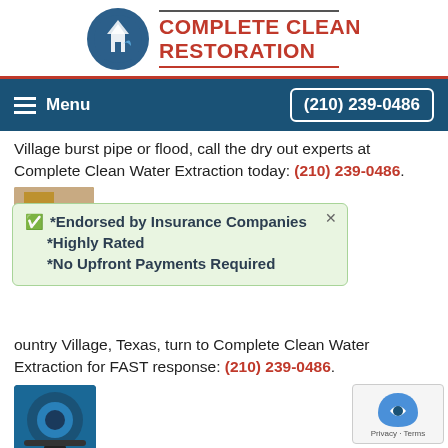[Figure (logo): Complete Clean Restoration logo with blue circular icon and red bold text]
[Figure (screenshot): Navigation bar with hamburger menu, Menu text, and phone number (210) 239-0486 on dark blue background]
Village burst pipe or flood, call the dry out experts at Complete Clean Water Extraction today: (210) 239-0486.
[Figure (photo): Small partial image of water damage]
*Endorsed by Insurance Companies
*Highly Rated
*No Upfront Payments Required
ountry Village, Texas, turn to Complete Clean Water Extraction for FAST response: (210) 239-0486.
[Figure (photo): Blue water extraction/drying machine]
Hill Country Village Flood Restoration
The water damage restoration team is standing by the